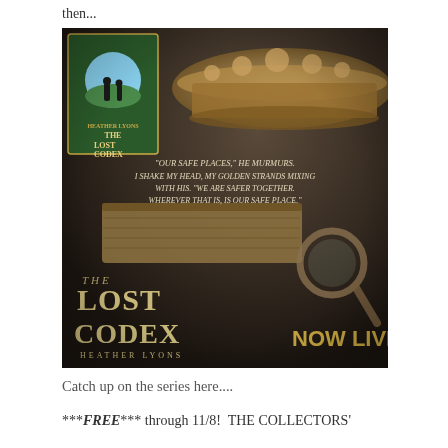then...
[Figure (illustration): Promotional book cover image for 'The Lost Codex' by Heather Lyons. Dark background showing an ornate crown, an old book, and a magnifying glass. A small book cover thumbnail is in the upper left corner. A quote reads: 'Our safe places,' he murmurs. I shake my head, my golden strands mixing with his. 'We are safer together. Wherever that is, is our safe place.' The title 'The Lost Codex' and 'Heather Lyons' appear in ornate lettering on the lower left. 'NOW LIVE!' appears in gold on the lower right.]
Catch up on the series here....
***FREE*** through 11/8!  THE COLLECTORS'